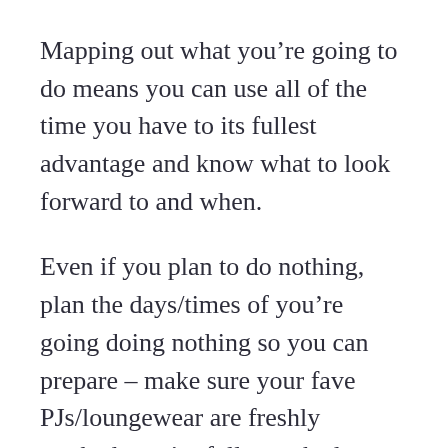Mapping out what you're going to do means you can use all of the time you have to its fullest advantage and know what to look forward to and when.
Even if you plan to do nothing, plan the days/times of you're going doing nothing so you can prepare – make sure your fave PJs/loungewear are freshly washed, you're fully stocked up on snacks and Netflix is primed to take you to binge watch